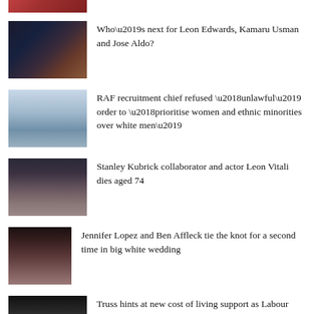[Figure (photo): Partial top image, cropped MMA fight photo]
Who’s next for Leon Edwards, Kamaru Usman and Jose Aldo?
[Figure (photo): RAF fighter jet flying overhead]
RAF recruitment chief refused ‘unlawful’ order to ‘prioritise women and ethnic minorities over white men’
[Figure (photo): Leon Vitali portrait photo]
Stanley Kubrick collaborator and actor Leon Vitali dies aged 74
[Figure (photo): Jennifer Lopez and Ben Affleck close-up photo]
Jennifer Lopez and Ben Affleck tie the knot for a second time in big white wedding
[Figure (photo): Liz Truss speaking photo]
Truss hints at new cost of living support as Labour calls for plans to be public